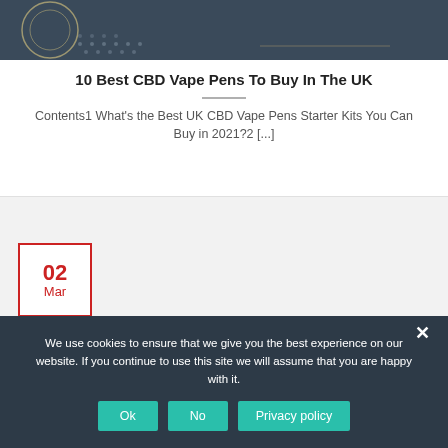[Figure (illustration): Dark teal/navy header image with decorative dot pattern and circular logo element on the left side]
10 Best CBD Vape Pens To Buy In The UK
Contents1 What's the Best UK CBD Vape Pens Starter Kits You Can Buy in 2021?2 [...]
[Figure (other): Light grey card section with a red-bordered date badge showing 02 Mar]
We use cookies to ensure that we give you the best experience on our website. If you continue to use this site we will assume that you are happy with it.
Ok  No  Privacy policy